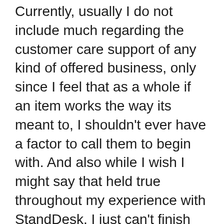Currently, usually I do not include much regarding the customer care support of any kind of offered business, only since I feel that as a whole if an item works the way its meant to, I shouldn't ever have a factor to call them to begin with. And also while I wish I might say that held true throughout my experience with StandDesk, I just can't finish this evaluation without discussing the various, relatively endless problems I experienced attempting to get my workdesk created.
For starters, the desk I was sent really did not have any memory mobile consisted of initially, which suggested I had no chance of actually controlling the up/down feature on the desk itself. I contacted StandDesk